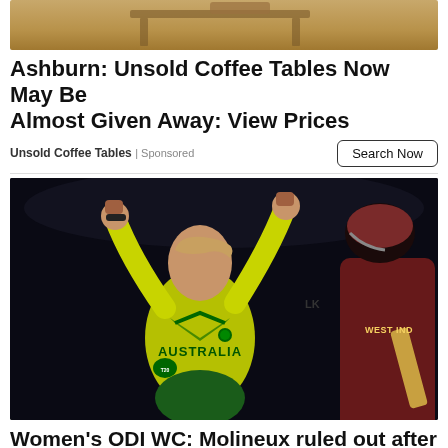[Figure (photo): Partial image of unsold coffee tables furniture at top of page]
Ashburn: Unsold Coffee Tables Now May Be Almost Given Away: View Prices
Unsold Coffee Tables | Sponsored
Search Now
[Figure (photo): Sports photo showing an Australian women's cricket player in yellow kit celebrating with fists raised, and a West Indies player in maroon kit in the background]
Women's ODI WC: Molineux ruled out after foot injury, paves way for Wellington